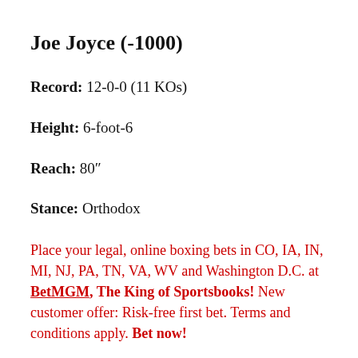Joe Joyce (-1000)
Record: 12-0-0 (11 KOs)
Height: 6-foot-6
Reach: 80"
Stance: Orthodox
Place your legal, online boxing bets in CO, IA, IN, MI, NJ, PA, TN, VA, WV and Washington D.C. at BetMGM, The King of Sportsbooks! New customer offer: Risk-free first bet. Terms and conditions apply. Bet now!